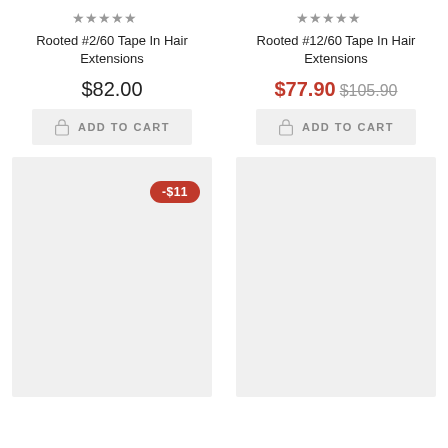[Figure (other): Five filled star rating icons for product 1]
Rooted #2/60 Tape In Hair Extensions
$82.00
ADD TO CART
[Figure (other): Product image placeholder (light gray rectangle) with -$11 discount badge]
[Figure (other): Five filled star rating icons for product 2]
Rooted #12/60 Tape In Hair Extensions
$77.90 $105.90
ADD TO CART
[Figure (other): Product image placeholder (light gray rectangle)]